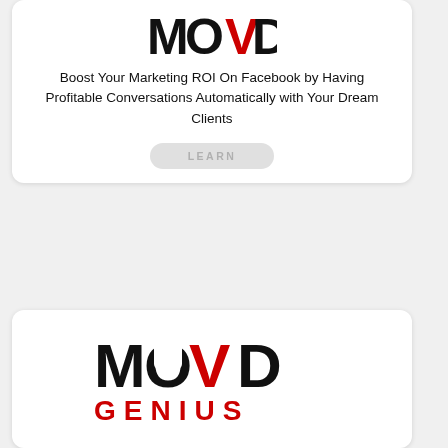[Figure (logo): MOVD logo in black and red at top of page]
Boost Your Marketing ROI On Facebook by Having Profitable Conversations Automatically with Your Dream Clients
LEARN
[Figure (logo): MOVD GENIUS logo in black and red in the bottom card]